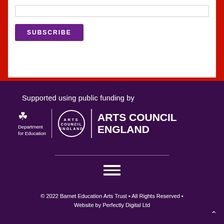[Figure (other): Subscribe button UI element on white card with search input bar and purple SUBSCRIBE button]
Supported using public funding by
[Figure (logo): Department for Education logo with crown icon, Arts Council England circular logo, and ARTS COUNCIL ENGLAND text in white on dark purple background]
[Figure (other): Hamburger menu icon (three horizontal lines) in white on dark purple]
© 2022 Barnet Education Arts Trust • All Rights Reserved • Website by Perfectly Digital Ltd